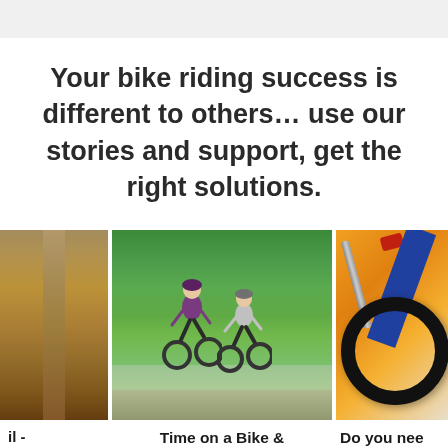Your bike riding success is different to others… use our stories and support, get the right solutions.
[Figure (photo): Three partially-visible article cards showing: (left, cropped) an autumn trail photo, (center) two cyclists riding bicycles on a road with green trees behind them, (right, cropped) bicycle repair tools including a pump, tire lever, inner tube, and orange cloth]
il - [trail article title cropped]
Time on a Bike & Your Body
Do you nee[d] special tools[?]